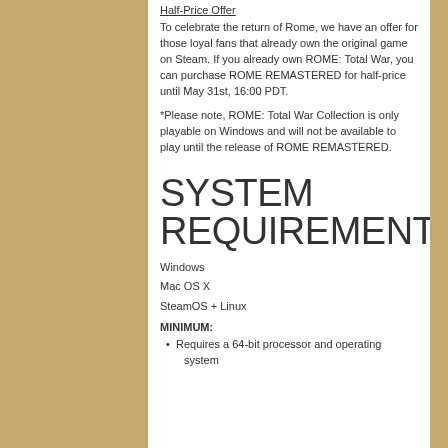Half-Price Offer
To celebrate the return of Rome, we have an offer for those loyal fans that already own the original game on Steam. If you already own ROME: Total War, you can purchase ROME REMASTERED for half-price until May 31st, 16:00 PDT.
*Please note, ROME: Total War Collection is only playable on Windows and will not be available to play until the release of ROME REMASTERED.
SYSTEM REQUIREMENTS
Windows
Mac OS X
SteamOS + Linux
MINIMUM:
Requires a 64-bit processor and operating system